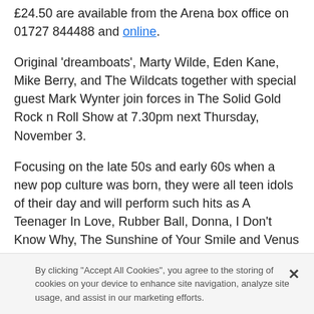£24.50 are available from the Arena box office on 01727 844488 and online.
Original 'dreamboats', Marty Wilde, Eden Kane, Mike Berry, and The Wildcats together with special guest Mark Wynter join forces in The Solid Gold Rock n Roll Show at 7.30pm next Thursday, November 3.
Focusing on the late 50s and early 60s when a new pop culture was born, they were all teen idols of their day and will perform such hits as A Teenager In Love, Rubber Ball, Donna, I Don't Know Why, The Sunshine of Your Smile and Venus In Blue Jeans.
Tickets are £28.50 and £26.50.
By clicking "Accept All Cookies", you agree to the storing of cookies on your device to enhance site navigation, analyze site usage, and assist in our marketing efforts.